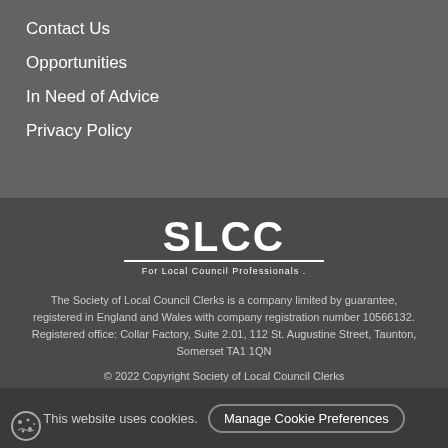Contact Us
Opportunities
In Need of Advice
Privacy Policy
[Figure (logo): SLCC logo — large bold white text 'SLCC' with white underline and tagline 'For Local Council Professionals.']
The Society of Local Council Clerks is a company limited by guarantee, registered in England and Wales with company registration number 10566132. Registered office: Collar Factory, Suite 2.01, 112 St. Augustine Street, Taunton, Somerset TA1 1QN
© 2022 Copyright Society of Local Council Clerks
This website uses cookies.  Manage Cookie Preferences